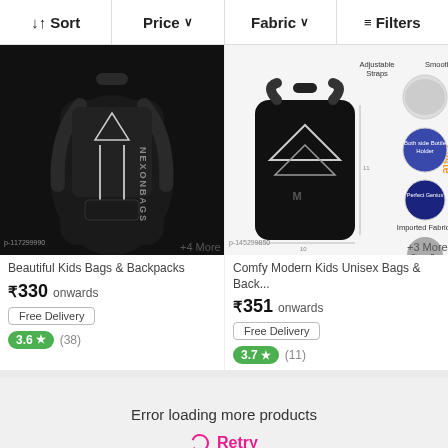↓↑ Sort | Price ∨ | Fabric ∨ | ≡ Filters
[Figure (photo): Black NEXONBAGS backpack with white reflective stripes and triangle design]
Beautiful Kids Bags & Backpacks
₹330 onwards
Free Delivery
3.6 ★ (38)
[Figure (photo): Black backpack with white chevron stripes, product feature callouts: Adjustable Straps, Smooth Chain, Both side Bottle Holder, Imported Fabrics, Strong P...]
Comfy Modern Kids Unisex Bags & Back...
₹351 onwards
Free Delivery
3.7 ★ (11)
Error loading more products
⟳ Retry